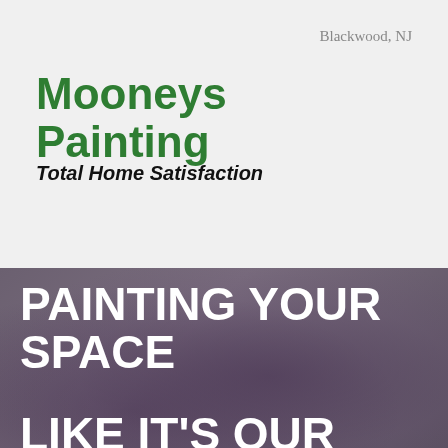Blackwood, NJ
Mooneys Painting
Total Home Satisfaction
[Figure (photo): Background photo of a room being painted, rendered with a dark purple-grey overlay. Contains large white bold text reading 'PAINTING YOUR SPACE' and 'LIKE IT'S OUR']
PAINTING YOUR SPACE
LIKE IT'S OUR